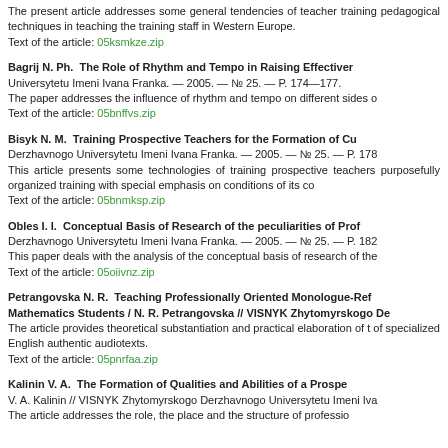The present article addresses some general tendencies of teacher training pedagogical techniques in teaching the training staff in Western Europe.
Text of the article: 05ksmkze.zip
Bagrij N. Ph.  The Role of Rhythm and Tempo in Raising Effectiveness
Universytetu Imeni Ivana Franka. — 2005. — № 25. — P. 174—177.
The paper addresses the influence of rhythm and tempo on different sides o
Text of the article: 05bnffvs.zip
Bisyk N. M.  Training Prospective Teachers for the Formation of Cu
Derzhavnogo Universytetu Imeni Ivana Franka. — 2005. — № 25. — P. 178
This article presents some technologies of training prospective teachers purposefully organized training with special emphasis on conditions of its co
Text of the article: 05bnmksp.zip
Obles I. I.  Conceptual Basis of Research of the peculiarities of Prof
Derzhavnogo Universytetu Imeni Ivana Franka. — 2005. — № 25. — P. 182
This paper deals with the analysis of the conceptual basis of research of the
Text of the article: 05oiivnz.zip
Petrangovska N. R.  Teaching Professionally Oriented Monologue-Re Mathematics Students / N. R. Petrangovska // VISNYK Zhytomyrskogo De
The article provides theoretical substantiation and practical elaboration of of specialized English authentic audiotexts.
Text of the article: 05pnrfaa.zip
Kalinin V. A.  The Formation of Qualities and Abilities of a Prospe
V. A. Kalinin // VISNYK Zhytomyrskogo Derzhavnogo Universytetu Imeni Iva
The article addresses the role, the place and the structure of professio